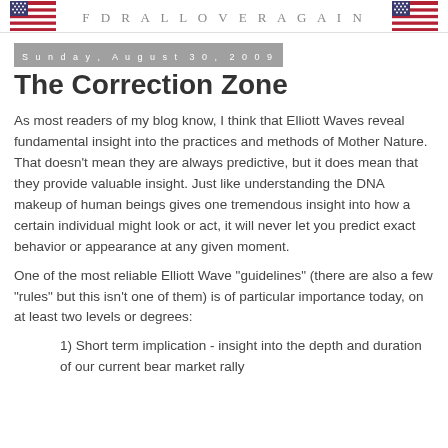FDRALLOVERAGAIN
Sunday, August 30, 2009
The Correction Zone
As most readers of my blog know, I think that Elliott Waves reveal fundamental insight into the practices and methods of Mother Nature. That doesn't mean they are always predictive, but it does mean that they provide valuable insight. Just like understanding the DNA makeup of human beings gives one tremendous insight into how a certain individual might look or act, it will never let you predict exact behavior or appearance at any given moment.
One of the most reliable Elliott Wave "guidelines" (there are also a few "rules" but this isn't one of them) is of particular importance today, on at least two levels or degrees:
1) Short term implication - insight into the depth and duration of our current bear market rally